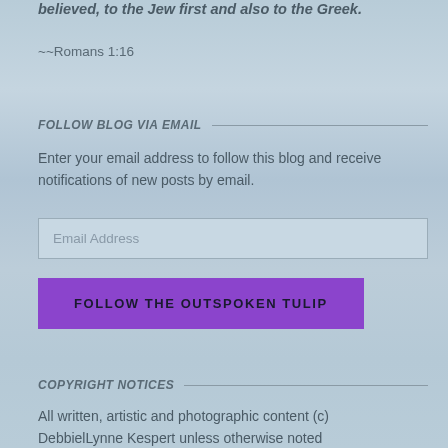believed, to the Jew first and also to the Greek.
~~Romans 1:16
FOLLOW BLOG VIA EMAIL
Enter your email address to follow this blog and receive notifications of new posts by email.
Email Address
FOLLOW THE OUTSPOKEN TULIP
COPYRIGHT NOTICES
All written, artistic and photographic content (c) DebbielLynne Kespert unless otherwise noted